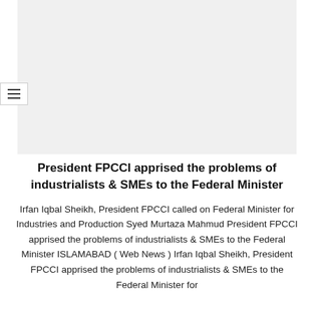[Figure (photo): Large rectangular gray placeholder image area at the top of the page]
President FPCCI apprised the problems of industrialists & SMEs to the Federal Minister
Irfan Iqbal Sheikh, President FPCCI called on Federal Minister for Industries and Production Syed Murtaza Mahmud President FPCCI apprised the problems of industrialists & SMEs to the Federal Minister ISLAMABAD ( Web News ) Irfan Iqbal Sheikh, President FPCCI apprised the problems of industrialists & SMEs to the Federal Minister for